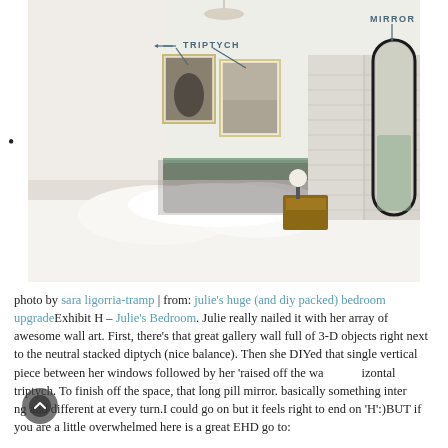[Figure (photo): Bedroom with green accent wall, white bedding, framed art triptych labeled 'TRIPTYCH' with arrows, and a tall arched floor mirror labeled 'MIRROR' with an arrow. Mid-century modern wooden nightstand visible.]
photo by sara ligorria-tramp | from: julie's huge (and diy packed) bedroom upgradeExhibit H – Julie's Bedroom. Julie really nailed it with her array of awesome wall art. First, there's that great gallery wall full of 3-D objects right next to the neutral stacked diptych (nice balance). Then she DIYed that single vertical piece between her windows followed by her 'raised off the wall' horizontal triptych. To finish off the space, that long pill mirror. basically something interesting and different at every turn.I could go on but it feels right to end on 'H':)BUT if you are a little overwhelmed here is a great EHD go to: